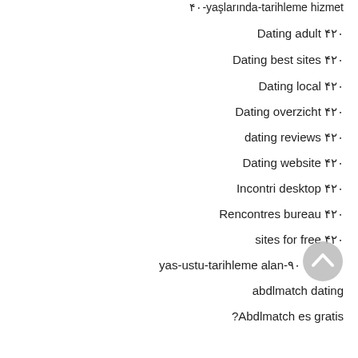۴۰-yaşlarında-tarihleme hizmet
Dating adult ۴۲۰
Dating best sites ۴۲۰
Dating local ۴۲۰
Dating overzicht ۴۲۰
dating reviews ۴۲۰
Dating website ۴۲۰
Incontri desktop ۴۲۰
Rencontres bureau ۴۲۰
sites for free ۴۲۰
yas-ustu-tarihleme alan-۹۰
abdlmatch dating
?Abdlmatch es gratis